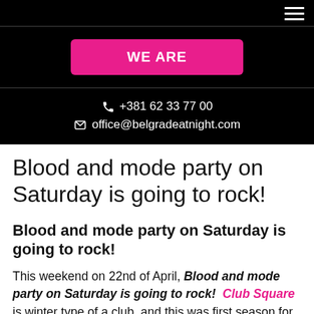WE ARE
+381 62 33 77 00
office@belgradeatnight.com
Blood and mode party on Saturday is going to rock!
Blood and mode party on Saturday is going to rock!
This weekend on 22nd of April, Blood and mode party on Saturday is going to rock!  Club Square is winter type of a club, and this was first season for them, and it was awesome! Closing date for this season is announced